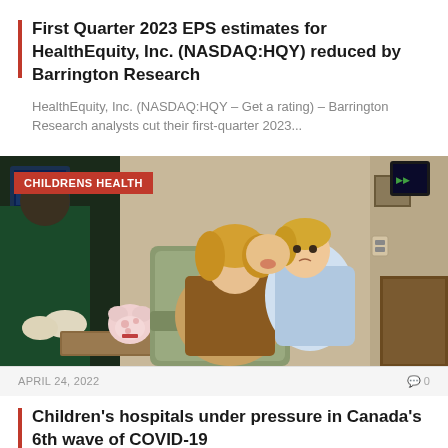First Quarter 2023 EPS estimates for HealthEquity, Inc. (NASDAQ:HQY) reduced by Barrington Research
HealthEquity, Inc. (NASDAQ:HQY – Get a rating) – Barrington Research analysts cut their first-quarter 2023...
[Figure (photo): A mother kisses her young daughter in what appears to be a medical or clinical setting. A healthcare worker in gloves is visible on the left. A stuffed toy animal sits on a tray. Tagged with 'CHILDRENS HEALTH' badge in red.]
APRIL 24, 2022
Children's hospitals under pressure in Canada's 6th wave of COVID-19